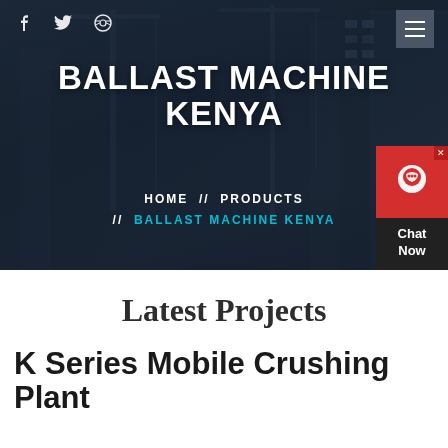BALLAST MACHINE KENYA
HOME // PRODUCTS // BALLAST MACHINE KENYA
Latest Projects
K Series Mobile Crushing Plant